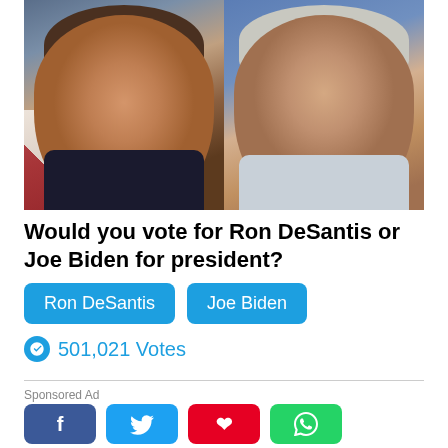[Figure (photo): Side-by-side photos of Ron DeSantis (left, smiling man in dark suit with American flag background) and Joe Biden (right, older man with white hair in light shirt against blue background)]
Would you vote for Ron DeSantis or Joe Biden for president?
Ron DeSantis   Joe Biden
501,021 Votes
Sponsored Ad
[Figure (infographic): Social media share buttons: Facebook (blue), Twitter (cyan), Pinterest (red), WhatsApp (green)]